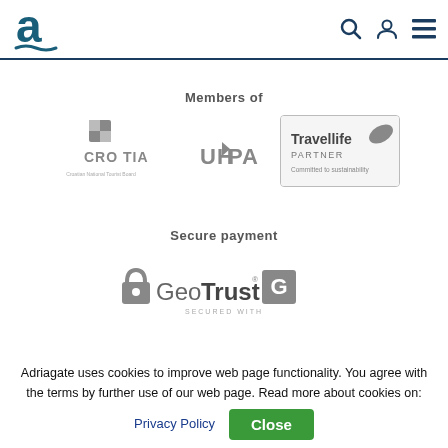Adriagate logo with navigation icons (search, user, menu)
Members of
[Figure (logo): Croatia - Croatian National Tourist Board logo (grayscale)]
[Figure (logo): UHPA logo (grayscale)]
[Figure (logo): Travellife Partner - Committed to sustainability logo (grayscale)]
Secure payment
[Figure (logo): GeoTrust Secured With logo (grayscale)]
Adriagate uses cookies to improve web page functionality. You agree with the terms by further use of our web page. Read more about cookies on:
Privacy Policy  Close